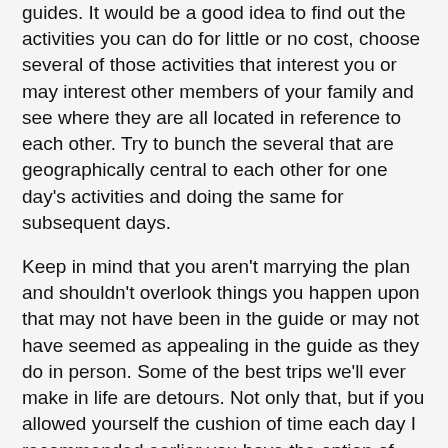guides. It would be a good idea to find out the activities you can do for little or no cost, choose several of those activities that interest you or may interest other members of your family and see where they are all located in reference to each other. Try to bunch the several that are geographically central to each other for one day's activities and doing the same for subsequent days.
Keep in mind that you aren't marrying the plan and shouldn't overlook things you happen upon that may not have been in the guide or may not have seemed as appealing in the guide as they do in person. Some of the best trips we'll ever make in life are detours. Not only that, but if you allowed yourself the cushion of time each day I recommended earlier you have the option of adjusting your schedule slightly and enjoying less rest or skipping one of the less appealing items on your itinerary in favor of this new attraction you found.
Vacations are meant to be fun for the entire family. We often forget that and make plans without getting the input of the family. If you do not allow for open dialog and at least get some input from all family members no one is going to enjoy